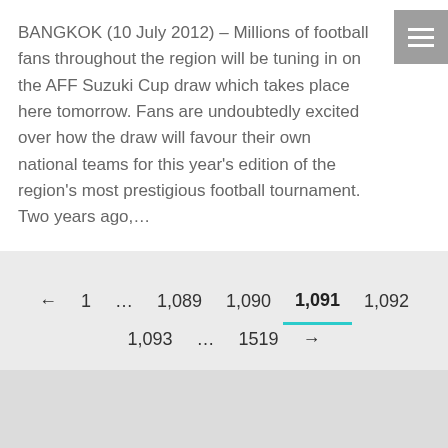BANGKOK (10 July 2012) – Millions of football fans throughout the region will be tuning in on the AFF Suzuki Cup draw which takes place here tomorrow. Fans are undoubtedly excited over how the draw will favour their own national teams for this year's edition of the region's most prestigious football tournament. Two years ago,…
← 1 … 1,089 1,090 1,091 1,092 1,093 … 1519 →
© Copyright 2018 - Asean Football Federation